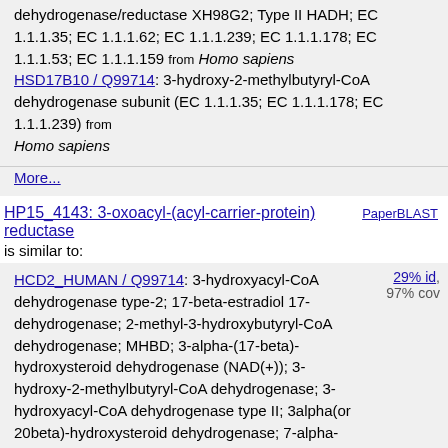dehydrogenase/reductase XH98G2; Type II HADH; EC 1.1.1.35; EC 1.1.1.62; EC 1.1.1.239; EC 1.1.1.178; EC 1.1.1.53; EC 1.1.1.159 from Homo sapiens
HSD17B10 / Q99714: 3-hydroxy-2-methylbutyryl-CoA dehydrogenase subunit (EC 1.1.1.35; EC 1.1.1.178; EC 1.1.1.239) from Homo sapiens
More...
HP15_4143: 3-oxoacyl-(acyl-carrier-protein) reductase
PaperBLAST
is similar to:
HCD2_HUMAN / Q99714: 3-hydroxyacyl-CoA dehydrogenase type-2; 17-beta-estradiol 17-dehydrogenase; 2-methyl-3-hydroxybutyryl-CoA dehydrogenase; MHBD; 3-alpha-(17-beta)-hydroxysteroid dehydrogenase (NAD(+)); 3-hydroxy-2-methylbutyryl-CoA dehydrogenase; 3-hydroxyacyl-CoA dehydrogenase type II; 3alpha(or 20beta)-hydroxysteroid dehydrogenase; 7-alpha-hydroxysteroid dehydrogenase; Endoplasmic reticulum-associated amyloid beta-peptide-binding
29% id, 97% cov